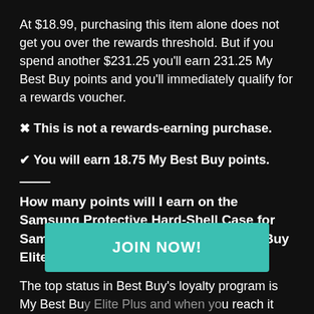At $18.99, purchasing this item alone does not get you over the rewards threshold. But if you spend another $231.25 you'll earn 231.25 My Best Buy points and you'll immediately qualify for a rewards voucher.
✖ This is not a rewards-earning purchase.
✔ You will earn 18.75 My Best Buy points.
How many points will I earn on the Samsung Protective Hard-Shell Case for Samsung Galaxy S20 5G as a My Best Buy Elite Plus Member?
The top status in Best Buy's loyalty program is My Best Buy Elite Plus and when you reach it you'll start earning 1.5 points for every $1 you spend. Purchasing the Samsung Protective Hard-Shell Case for Samsung Galaxy S20 5G for $18.99 will get you 27.50 points (worth $0.27).
[Figure (other): Teal/green JOIN NOW! button overlay]